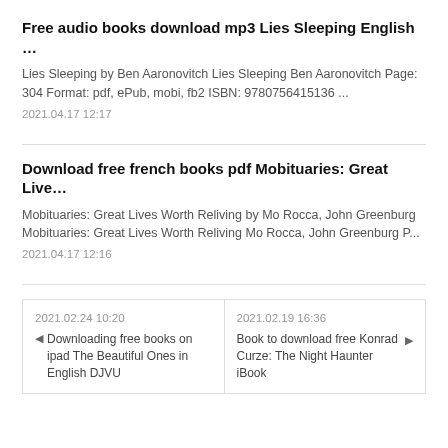Free audio books download mp3 Lies Sleeping English …
Lies Sleeping by Ben Aaronovitch Lies Sleeping Ben Aaronovitch Page: 304 Format: pdf, ePub, mobi, fb2 ISBN: 9780756415136 ...
2021.04.17 12:17
Download free french books pdf Mobituaries: Great Live…
Mobituaries: Great Lives Worth Reliving by Mo Rocca, John Greenburg Mobituaries: Great Lives Worth Reliving Mo Rocca, John Greenburg P...
2021.04.17 12:16
2021.02.24 10:20
Downloading free books on ipad The Beautiful Ones in English DJVU
2021.02.19 16:36
Book to download free Konrad Curze: The Night Haunter iBook